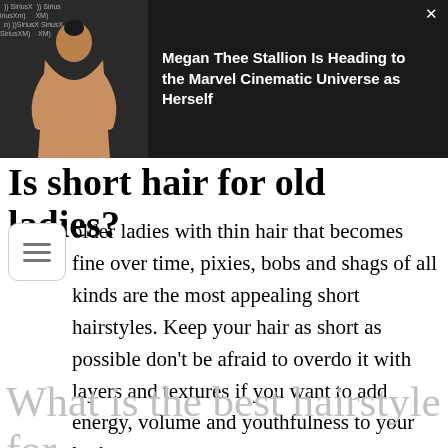[Figure (screenshot): Advertisement banner showing Megan Thee Stallion in a bodysuit at a SiriusXM event, with headline 'Megan Thee Stallion Is Heading to the Marvel Cinematic Universe as Herself' on dark background. A close button (×) is in the top right corner.]
Is short hair for old ladies?
For older ladies with thin hair that becomes fine over time, pixies, bobs and shags of all kinds are the most appealing short hairstyles. Keep your hair as short as possible don't be afraid to overdo it with layers and textures if you want to add energy, volume and youthfulness to your look.
What is the best hairstyle for